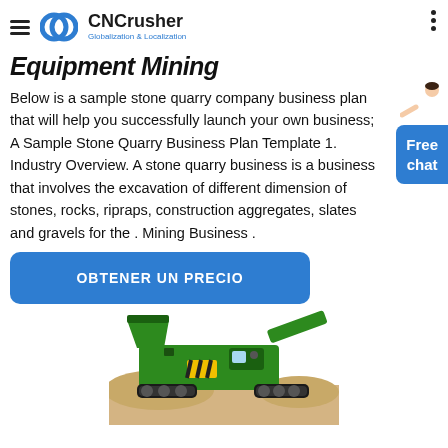CNCrusher Globalization & Localization
Equipment Mining
Below is a sample stone quarry company business plan that will help you successfully launch your own business; A Sample Stone Quarry Business Plan Template 1. Industry Overview. A stone quarry business is a business that involves the excavation of different dimension of stones, rocks, ripraps, construction aggregates, slates and gravels for the . Mining Business .
[Figure (other): Blue 'Free chat' button with person illustration]
OBTENER UN PRECIO
[Figure (photo): Green mobile stone crushing/quarry machine on sandy ground]